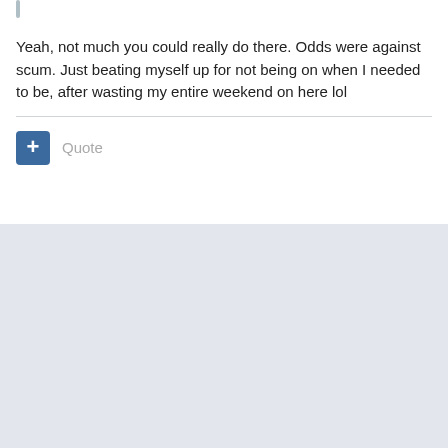Yeah, not much you could really do there. Odds were against scum. Just beating myself up for not being on when I needed to be, after wasting my entire weekend on here lol